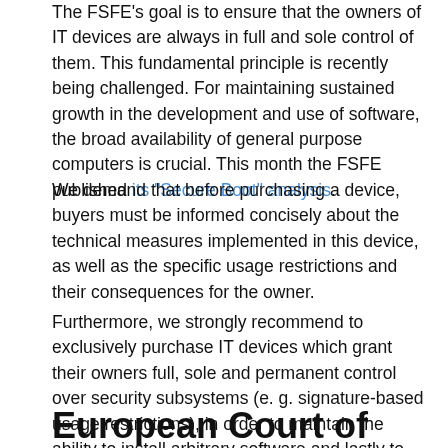The FSFE's goal is to ensure that the owners of IT devices are always in full and sole control of them. This fundamental principle is recently being challenged. For maintaining sustained growth in the development and use of software, the broad availability of general purpose computers is crucial. This month the FSFE published its "Secure Boot" analysis.
We demand that before purchasing a device, buyers must be informed concisely about the technical measures implemented in this device, as well as the specific usage restrictions and their consequences for the owner.
Furthermore, we strongly recommend to exclusively purchase IT devices which grant their owners full, sole and permanent control over security subsystems (e. g. signature-based usage restrictions), in order to maintain the ability to install arbitrary software and lastly to retain exclusive control over ones own data.
European Court of Justice